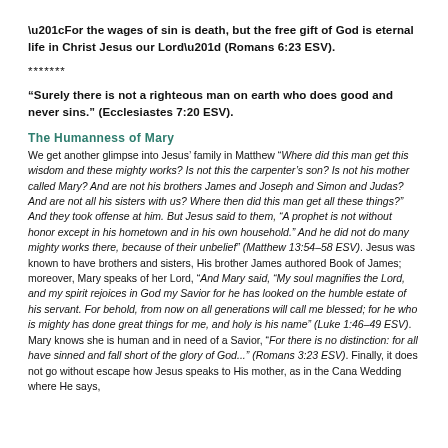“For the wages of sin is death, but the free gift of God is eternal life in Christ Jesus our Lord” (Romans 6:23 ESV).
*******
“Surely there is not a righteous man on earth who does good and never sins.” (Ecclesiastes 7:20 ESV).
The Humanness of Mary
We get another glimpse into Jesus’ family in Matthew “Where did this man get this wisdom and these mighty works? Is not this the carpenter’s son? Is not his mother called Mary? And are not his brothers James and Joseph and Simon and Judas? And are not all his sisters with us? Where then did this man get all these things?” And they took offense at him. But Jesus said to them, “A prophet is not without honor except in his hometown and in his own household.” And he did not do many mighty works there, because of their unbelief” (Matthew 13:54–58 ESV). Jesus was known to have brothers and sisters, His brother James authored Book of James; moreover, Mary speaks of her Lord, “And Mary said, “My soul magnifies the Lord, and my spirit rejoices in God my Savior for he has looked on the humble estate of his servant. For behold, from now on all generations will call me blessed; for he who is mighty has done great things for me, and holy is his name” (Luke 1:46–49 ESV). Mary knows she is human and in need of a Savior, “For there is no distinction: for all have sinned and fall short of the glory of God...” (Romans 3:23 ESV). Finally, it does not go without escape how Jesus speaks to His mother, as in the Cana Wedding where He says,